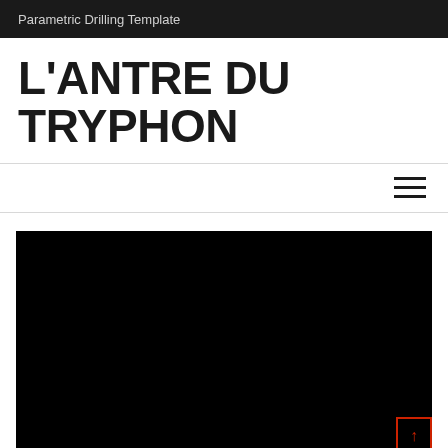Parametric Drilling Template
L'ANTRE DU TRYPHON
[Figure (screenshot): Navigation bar with hamburger menu icon (three horizontal lines) aligned to the right]
[Figure (photo): Large black image/video placeholder with a red-bordered scroll-to-top button in the bottom right corner containing an upward arrow]